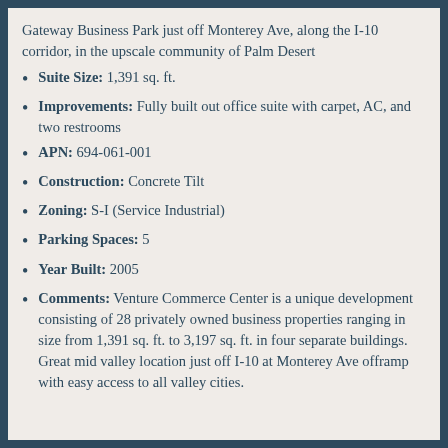Gateway Business Park just off Monterey Ave, along the I-10 corridor, in the upscale community of Palm Desert
Suite Size: 1,391 sq. ft.
Improvements: Fully built out office suite with carpet, AC, and two restrooms
APN: 694-061-001
Construction: Concrete Tilt
Zoning: S-I (Service Industrial)
Parking Spaces: 5
Year Built: 2005
Comments: Venture Commerce Center is a unique development consisting of 28 privately owned business properties ranging in size from 1,391 sq. ft. to 3,197 sq. ft. in four separate buildings. Great mid valley location just off I-10 at Monterey Ave offramp with easy access to all valley cities.